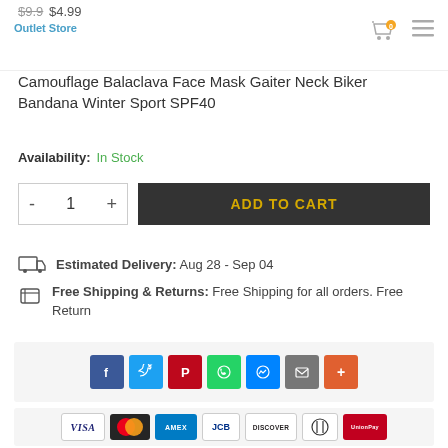$9.9 $4.99 Outlet Store
Camouflage Balaclava Face Mask Gaiter Neck Biker Bandana Winter Sport SPF40
Availability: In Stock
[Figure (other): Quantity selector showing minus, 1, plus controls and dark Add to Cart button with gold text]
Estimated Delivery: Aug 28 - Sep 04
Free Shipping & Returns: Free Shipping for all orders. Free Return
[Figure (other): Social share buttons: Facebook, Twitter, Pinterest, WhatsApp, Messenger, Email, More]
[Figure (other): Payment method icons: VISA, Mastercard, AMEX, JCB, Discover, Diners Club, UnionPay]